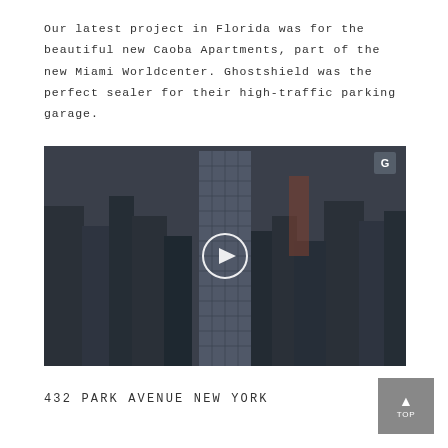Our latest project in Florida was for the beautiful new Caoba Apartments, part of the new Miami Worldcenter. Ghostshield was the perfect sealer for their high-traffic parking garage.
[Figure (photo): Aerial view of a tall skyscraper (432 Park Avenue style tower) rising above a dense urban cityscape, with a circular play button overlay in the center indicating a video thumbnail, and a small shield logo badge in the top-right corner.]
432 PARK AVENUE NEW YORK